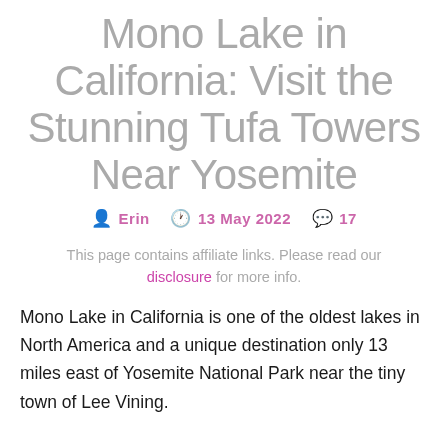Mono Lake in California: Visit the Stunning Tufa Towers Near Yosemite
🧑 ERIN  🕐 13 MAY 2022  💬 17
This page contains affiliate links. Please read our disclosure for more info.
Mono Lake in California is one of the oldest lakes in North America and a unique destination only 13 miles east of Yosemite National Park near the tiny town of Lee Vining.